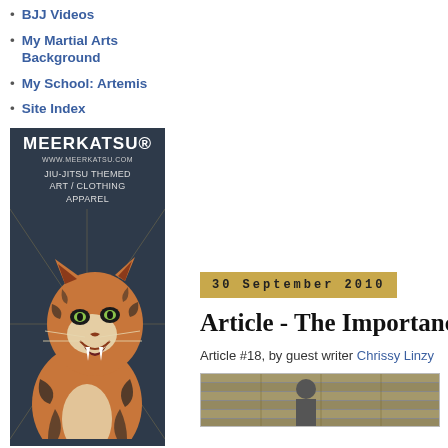BJJ Videos
My Martial Arts Background
My School: Artemis
Site Index
[Figure (illustration): Meerkatsu advertisement banner showing a roaring tiger illustration with text: MEERKATSU, www.meerkatsu.com, JIU-JITSU THEMED ART / CLOTHING APPAREL]
30 September 2010
Article - The Importanc
Article #18, by guest writer Chrissy Linzy
[Figure (photo): Partial view of an article image at the bottom right of the page]